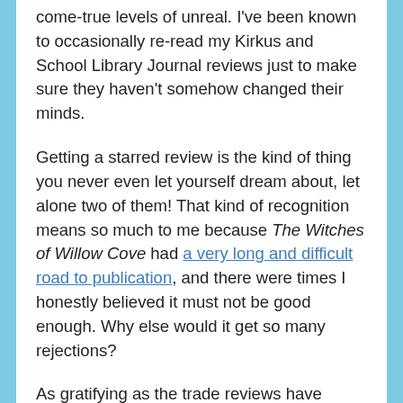come-true levels of unreal. I've been known to occasionally re-read my Kirkus and School Library Journal reviews just to make sure they haven't somehow changed their minds.
Getting a starred review is the kind of thing you never even let yourself dream about, let alone two of them! That kind of recognition means so much to me because The Witches of Willow Cove had a very long and difficult road to publication, and there were times I honestly believed it must not be good enough. Why else would it get so many rejections?
As gratifying as the trade reviews have been, though, it's so much cooler to hear from the readers who've discovered the book and found